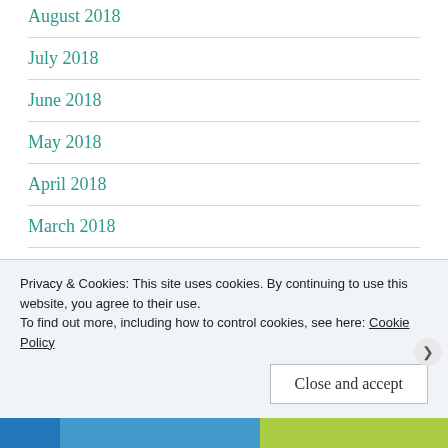August 2018
July 2018
June 2018
May 2018
April 2018
March 2018
February 2018
January 2018
Privacy & Cookies: This site uses cookies. By continuing to use this website, you agree to their use. To find out more, including how to control cookies, see here: Cookie Policy
Close and accept